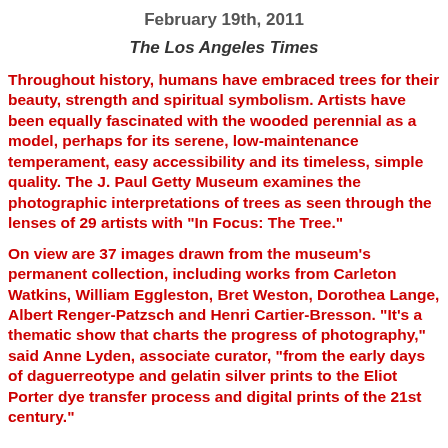February 19th, 2011
The Los Angeles Times
Throughout history, humans have embraced trees for their beauty, strength and spiritual symbolism. Artists have been equally fascinated with the wooded perennial as a model, perhaps for its serene, low-maintenance temperament, easy accessibility and its timeless, simple quality. The J. Paul Getty Museum examines the photographic interpretations of trees as seen through the lenses of 29 artists with "In Focus: The Tree."
On view are 37 images drawn from the museum's permanent collection, including works from Carleton Watkins, William Eggleston, Bret Weston, Dorothea Lange, Albert Renger-Patzsch and Henri Cartier-Bresson. "It's a thematic show that charts the progress of photography," said Anne Lyden, associate curator, "from the early days of daguerreotype and gelatin silver prints to the Eliot Porter dye transfer process and digital prints of the 21st century."